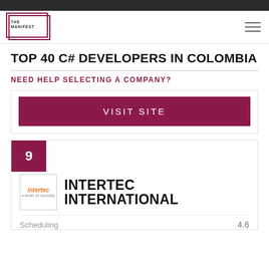THE MANIFEST
TOP 40 C# DEVELOPERS IN COLOMBIA
NEED HELP SELECTING A COMPANY?
VISIT SITE
9
[Figure (logo): Intertec International company logo with orange italic text]
INTERTEC INTERNATIONAL
Scheduling 4.6